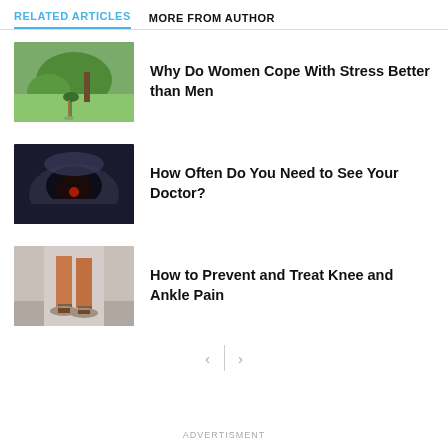RELATED ARTICLES
MORE FROM AUTHOR
[Figure (photo): Person walking under a large green tree in a park]
Why Do Women Cope With Stress Better than Men
[Figure (photo): Dark rocky cave or volcanic scene with smoke and a small red figure]
How Often Do You Need to See Your Doctor?
[Figure (photo): Close-up of legs and feet on a bicycle or unicycle on pavement]
How to Prevent and Treat Knee and Ankle Pain
ADVERTISMENT